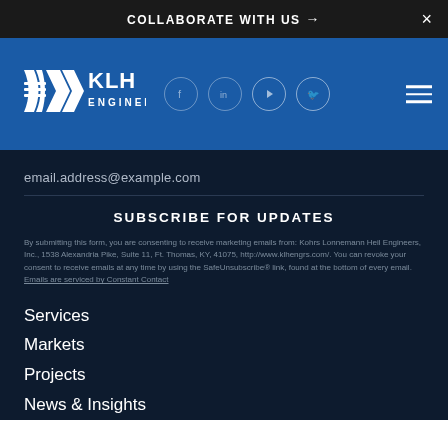COLLABORATE WITH US →  ×
[Figure (logo): KLH Engineers logo with stylized wave mark, social media icons (Facebook, LinkedIn, YouTube, Twitter), and hamburger menu]
email.address@example.com
SUBSCRIBE FOR UPDATES
By submitting this form, you are consenting to receive marketing emails from: Kohrs Lonnemann Heil Engineers, Inc., 1538 Alexandria Pike, Suite 11, Ft. Thomas, KY, 41075, http://www.klhengrs.com/. You can revoke your consent to receive emails at any time by using the SafeUnsubscribe® link, found at the bottom of every email. Emails are serviced by Constant Contact
Services
Markets
Projects
News & Insights